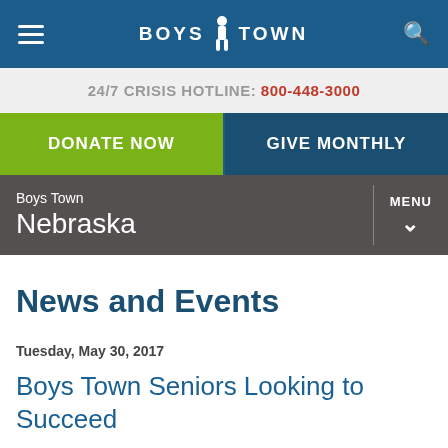BOYS TOWN
24/7 CRISIS HOTLINE: 800-448-3000
DONATE NOW
GIVE MONTHLY
Boys Town Nebraska
News and Events
Tuesday, May 30, 2017
Boys Town Seniors Looking to Succeed